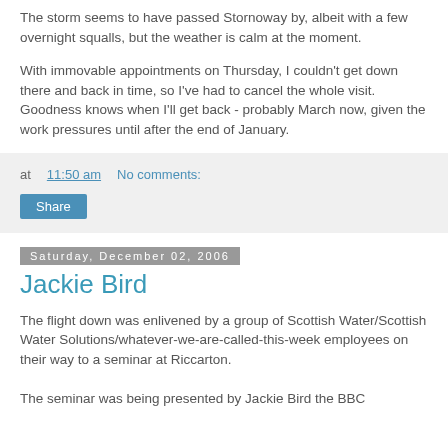The storm seems to have passed Stornoway by, albeit with a few overnight squalls, but the weather is calm at the moment.
With immovable appointments on Thursday, I couldn't get down there and back in time, so I've had to cancel the whole visit. Goodness knows when I'll get back - probably March now, given the work pressures until after the end of January.
at 11:50 am   No comments:
Share
Saturday, December 02, 2006
Jackie Bird
The flight down was enlivened by a group of Scottish Water/Scottish Water Solutions/whatever-we-are-called-this-week employees on their way to a seminar at Riccarton.
The seminar was being presented by Jackie Bird the BBC